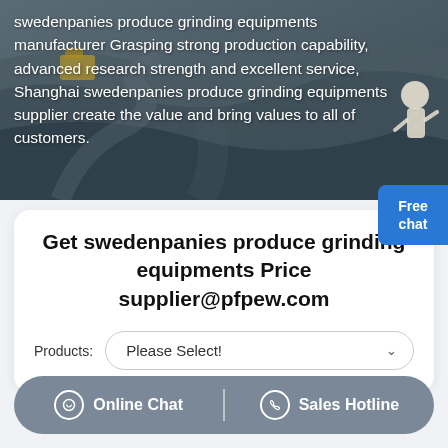[Figure (photo): Aerial view of a mining/quarry site with heavy equipment, used as hero background image]
swedenpanies produce grinding equipments manufacturer Grasping strong production capability, advanced research strength and excellent service, Shanghai swedenpanies produce grinding equipments supplier create the value and bring values to all of customers.
Get swedenpanies produce grinding equipments Price supplier@pfpew.com
Products: Please Select!
Online Chat | Sales Hotline